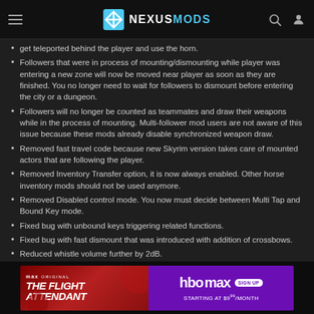NEXUSMODS
get teleported behind the player and use the horn.
Followers that were in process of mounting/dismounting while player was entering a new zone will now be moved near player as soon as they are finished. You no longer need to wait for followers to dismount before entering the city or a dungeon.
Followers will no longer be counted as teammates and draw their weapons while in the process of mounting. Multi-follower mod users are not aware of this issue because these mods already disable synchronized weapon draw.
Removed fast travel code because new Skyrim version takes care of mounted actors that are following the player.
Removed Inventory Transfer option, it is now always enabled. Other horse inventory mods should not be used anymore.
Removed Disabled control mode. You now must decide between Multi Tap and Bound Key mode.
Fixed bug with unbound keys triggering related functions.
Fixed bug with fast dismount that was introduced with addition of crossbows.
Reduced whistle volume further by 2dB.
[Figure (infographic): Advertisement banner for HBO Max 'The Flight Attendant' original series. Left side shows red background with 'max original THE FLIGHT ATTENDANT' text. Right side shows purple HBO Max logo with 'SIGN UP STARTING AT $9.99/MONTH' text.]